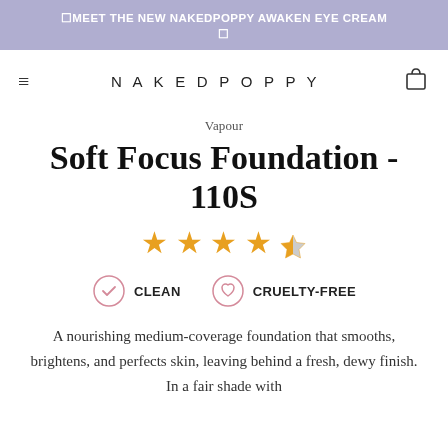MEET THE NEW NAKEDPOPPY AWAKEN EYE CREAM
[Figure (logo): NakedPoppy navigation bar with hamburger menu, brand logo NAKEDPOPPY, and shopping bag icon]
Vapour
Soft Focus Foundation - 110S
[Figure (other): 4.5 out of 5 stars rating shown as orange star icons]
CLEAN   CRUELTY-FREE
A nourishing medium-coverage foundation that smooths, brightens, and perfects skin, leaving behind a fresh, dewy finish. In a fair shade with